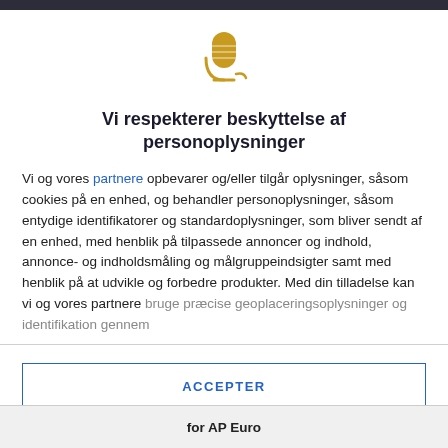[Figure (illustration): Gold microphone icon with a small wave/cord at the bottom]
Vi respekterer beskyttelse af personoplysninger
Vi og vores partnere opbevarer og/eller tilgår oplysninger, såsom cookies på en enhed, og behandler personoplysninger, såsom entydige identifikatorer og standardoplysninger, som bliver sendt af en enhed, med henblik på tilpassede annoncer og indhold, annonce- og indholdsmåling og målgruppeindsigter samt med henblik på at udvikle og forbedre produkter. Med din tilladelse kan vi og vores partnere bruge præcise geoplaceringsoplysninger og identifikation gennem
ACCEPTER
FLERE MULIGHEDER
for AP Euro